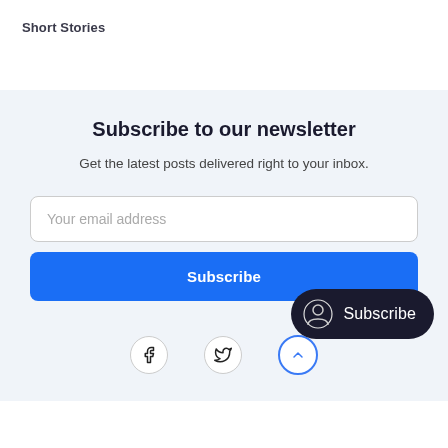Short Stories
Subscribe to our newsletter
Get the latest posts delivered right to your inbox.
Your email address
Subscribe
[Figure (screenshot): Dark pill-shaped subscribe button with user icon and 'Subscribe' text]
[Figure (infographic): Footer with Facebook icon, Twitter icon, and scroll-up button]